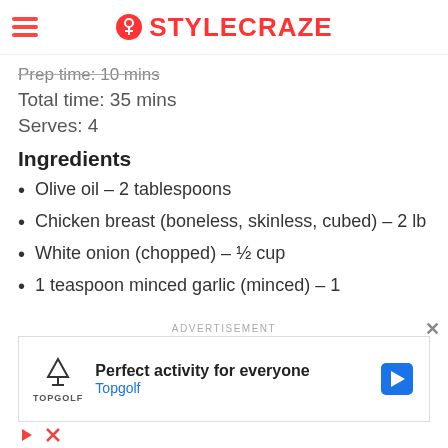STYLECRAZE
Prep time: 10 mins
Total time: 35 mins
Serves: 4
Ingredients
Olive oil – 2 tablespoons
Chicken breast (boneless, skinless, cubed) – 2 lb
White onion (chopped) – ½ cup
1 teaspoon minced garlic (minced) – 1
[Figure (screenshot): Advertisement banner for Topgolf: 'Perfect activity for everyone' with Topgolf logo and navigation arrow icon]